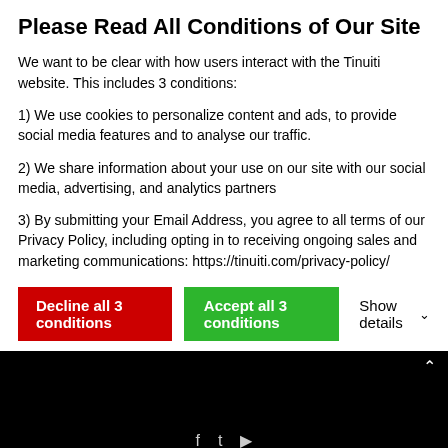Please Read All Conditions of Our Site
We want to be clear with how users interact with the Tinuiti website. This includes 3 conditions:
1) We use cookies to personalize content and ads, to provide social media features and to analyse our traffic.
2) We share information about your use on our site with our social media, advertising, and analytics partners
3) By submitting your Email Address, you agree to all terms of our Privacy Policy, including opting in to receiving ongoing sales and marketing communications: https://tinuiti.com/privacy-policy/
Decline all 3 conditions | Accept all 3 conditions | Show details
Copyright © 2022 Tinuiti. All Rights Reserved. | Privacy Policy | Do Not Sell My Info